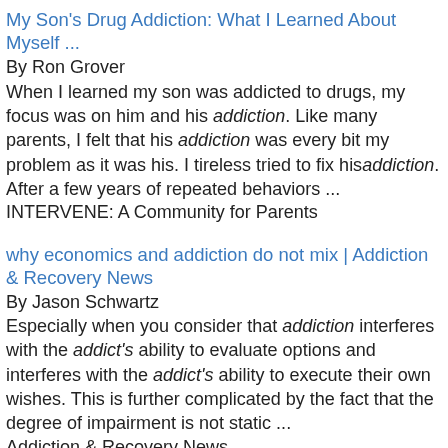My Son's Drug Addiction: What I Learned About Myself ...
By Ron Grover
When I learned my son was addicted to drugs, my focus was on him and his addiction. Like many parents, I felt that his addiction was every bit my problem as it was his. I tireless tried to fix his addiction. After a few years of repeated behaviors ...
INTERVENE: A Community for Parents
why economics and addiction do not mix | Addiction & Recovery News
By Jason Schwartz
Especially when you consider that addiction interferes with the addict's ability to evaluate options and interferes with the addict's ability to execute their own wishes. This is further complicated by the fact that the degree of impairment is not static ...
Addiction & Recovery News
Creating an Addiction-Free Environment - Beyond Gorgeous
By sbrown
We discussed in the last couple of posts that you can address